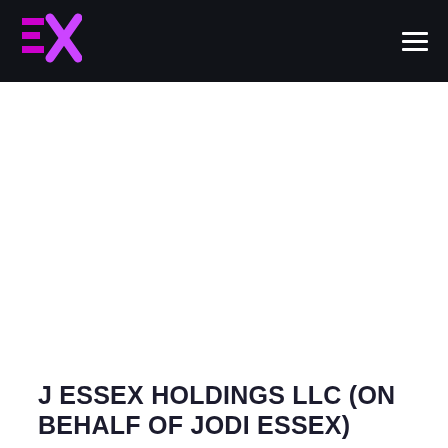J Essex Holdings LLC navigation header with logo and menu
[Figure (logo): EX logo mark in magenta/pink on dark background, stylized letters E and X combined]
J ESSEX HOLDINGS LLC (ON BEHALF OF JODI ESSEX)